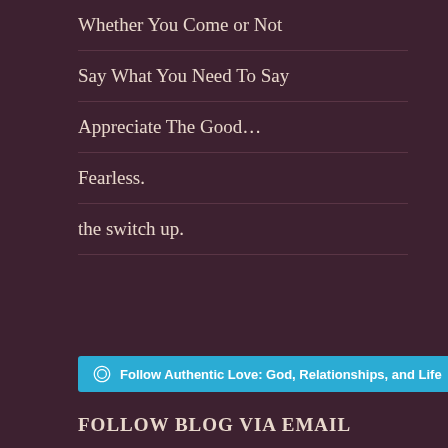Whether You Come or Not
Say What You Need To Say
Appreciate The Good…
Fearless.
the switch up.
[Figure (other): WordPress Follow button for 'Authentic Love: God, Relationships, and Life' with 386 followers]
FOLLOW BLOG VIA EMAIL